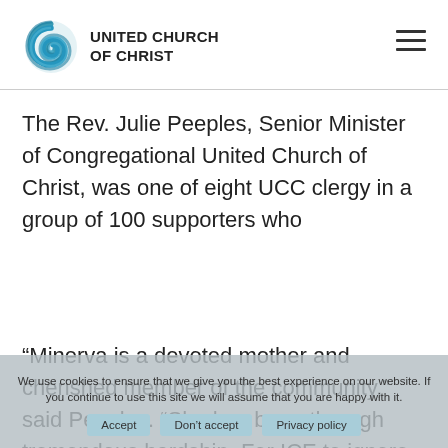UNITED CHURCH OF CHRIST
The Rev. Julie Peeples, Senior Minister of Congregational United Church of Christ, was one of eight UCC clergy in a group of 100 supporters who accompanied Garcia to the ICE office with her sons Antonio and Mateo.
“Minerva is a devoted mother and cherished member of the community,” said Peeples. “She has been through tremendous hardship. For ICE to ignore the orders of a federal judge and
We use cookies to ensure that we give you the best experience on our website. If you continue to use this site we will assume that you are happy with it.